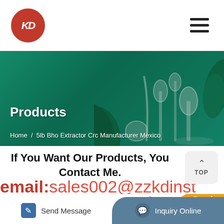[Figure (logo): KD logo in red circle]
[Figure (illustration): Hamburger menu icon]
[Figure (photo): Green banner with laboratory equipment and plants]
Products
Home / 5lb Bho Extractor Crc Manufacturer Mexico
If You Want Our Products, You Contact Me.
email:sales002@zzkdinst
[Figure (photo): Laboratory equipment product images with Popular badge]
Send Message
Inquiry Online